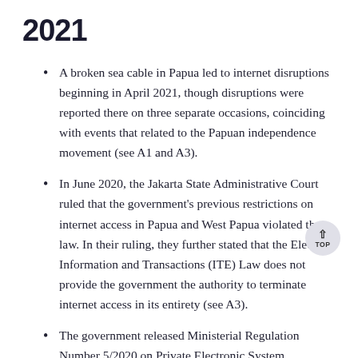2021
A broken sea cable in Papua led to internet disruptions beginning in April 2021, though disruptions were reported there on three separate occasions, coinciding with events that related to the Papuan independence movement (see A1 and A3).
In June 2020, the Jakarta State Administrative Court ruled that the government's previous restrictions on internet access in Papua and West Papua violated the law. In their ruling, they further stated that the Election Information and Transactions (ITE) Law does not provide the government the authority to terminate internet access in its entirety (see A3).
The government released Ministerial Regulation Number 5/2020 on Private Electronic System Operators (MR 5/2020) in November 2020, which